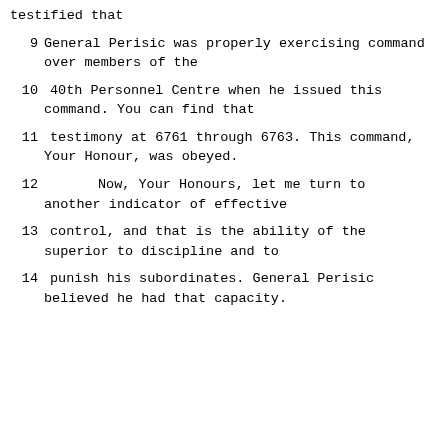testified that
9      General Perisic was properly exercising command over members of the
10      40th Personnel Centre when he issued this command.  You can find that
11      testimony at 6761 through 6763.  This command, Your Honour, was obeyed.
12             Now, Your Honours, let me turn to another indicator of effective
13      control, and that is the ability of the superior to discipline and to
14      punish his subordinates.  General Perisic believed he had that capacity.